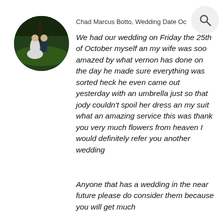[Figure (photo): Circular profile photo of a wedding couple — bride in white dress and groom in blue suit — standing outdoors on grass under a tree at night]
Chad Marcus Botto, Wedding Date Oc
We had our wedding on Friday the 25th of October myself an my wife was soo amazed by what vernon has done on the day he made sure everything was sorted heck he even came out yesterday with an umbrella just so that jody couldn't spoil her dress an my suit what an amazing service this was thank you very much flowers from heaven I would definitely refer you another wedding
Anyone that has a wedding in the near future please do consider them because you will get much